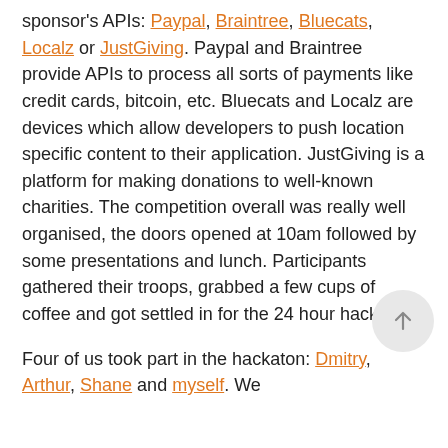sponsor's APIs: Paypal, Braintree, Bluecats, Localz or JustGiving. Paypal and Braintree provide APIs to process all sorts of payments like credit cards, bitcoin, etc. Bluecats and Localz are devices which allow developers to push location specific content to their application. JustGiving is a platform for making donations to well-known charities. The competition overall was really well organised, the doors opened at 10am followed by some presentations and lunch. Participants gathered their troops, grabbed a few cups of coffee and got settled in for the 24 hour hackfest.
Four of us took part in the hackaton: Dmitry, Arthur, Shane and myself. We